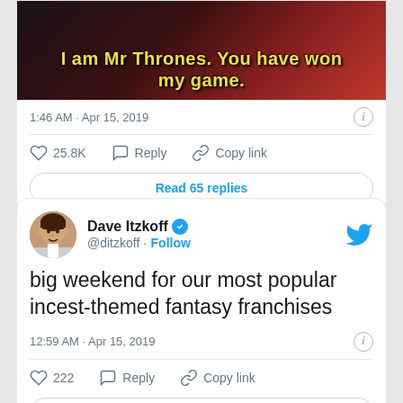[Figure (screenshot): Meme image with dark background and yellow text: 'I am Mr Thrones. You have won my game.']
1:46 AM · Apr 15, 2019
♡ 25.8K  Reply  Copy link
Read 65 replies
Dave Itzkoff @ditzkoff · Follow
big weekend for our most popular incest-themed fantasy franchises
12:59 AM · Apr 15, 2019
♡ 222  Reply  Copy link
Read 8 replies